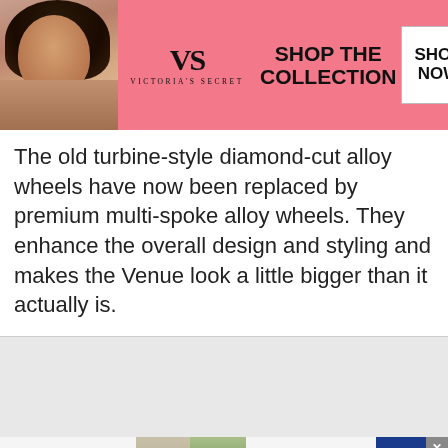[Figure (infographic): Victoria's Secret advertisement banner with pink background, model on left, VS logo in center, 'SHOP THE COLLECTION' headline, and 'SHOP NOW' CTA button on right]
The old turbine-style diamond-cut alloy wheels have now been replaced by premium multi-spoke alloy wheels. They enhance the overall design and styling and makes the Venue look a little bigger than it actually is.
[Figure (infographic): SmartPak advertisement banner with logo on left, product and horse images in center, '50% Off Two Months of ColiCare, ColiCare Eligible Supplements, CODE: COLICARE10' text, and 'Shop Now' CTA button in blue on right]